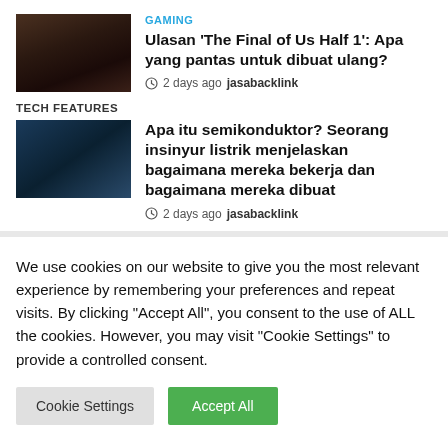GAMING
Ulasan ‘The Final of Us Half 1’: Apa yang pantas untuk dibuat ulang?
2 days ago jasabacklink
[Figure (photo): Dark screenshot from The Last of Us game showing a character's face]
TECH FEATURES
[Figure (photo): Close-up photo of a semiconductor circuit board with blue tones]
Apa itu semikonduktor? Seorang insinyur listrik menjelaskan bagaimana mereka bekerja dan bagaimana mereka dibuat
2 days ago jasabacklink
We use cookies on our website to give you the most relevant experience by remembering your preferences and repeat visits. By clicking “Accept All”, you consent to the use of ALL the cookies. However, you may visit "Cookie Settings" to provide a controlled consent.